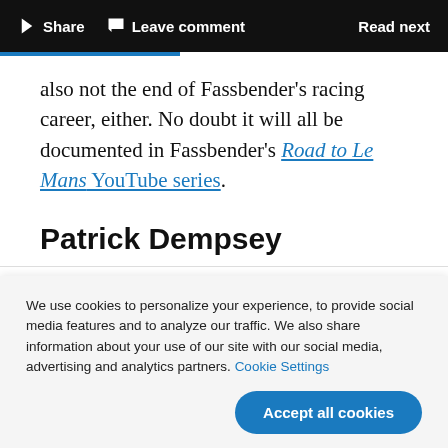Share  Leave comment  Read next
also not the end of Fassbender’s racing career, either. No doubt it will all be documented in Fassbender’s Road to Le Mans YouTube series.
Patrick Dempsey
We use cookies to personalize your experience, to provide social media features and to analyze our traffic. We also share information about your use of our site with our social media, advertising and analytics partners. Cookie Settings
Accept all cookies